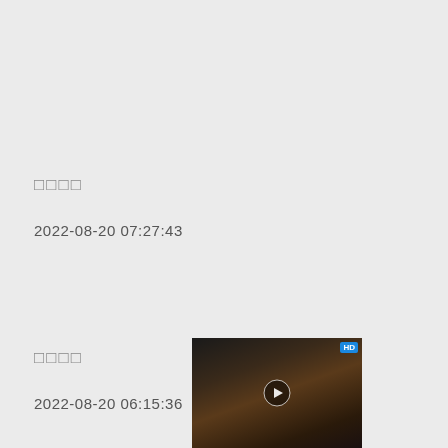□□□□
2022-08-20 07:27:43
□□□□
2022-08-20 06:15:36
[Figure (photo): Thumbnail image of a person, partially visible, with a small blue badge in the top right corner and a play button overlay]